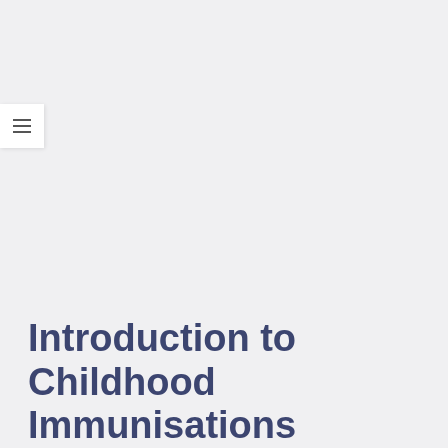[Figure (other): Hamburger menu button icon with three horizontal lines, white background, positioned top-left area]
Introduction to Childhood Immunisations